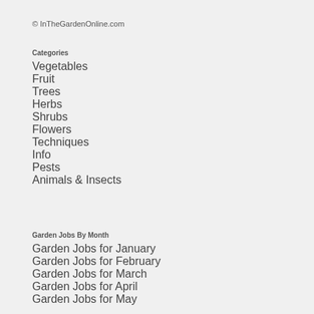© InTheGardenOnline.com
Categories
Vegetables
Fruit
Trees
Herbs
Shrubs
Flowers
Techniques
Info
Pests
Animals & Insects
Garden Jobs By Month
Garden Jobs for January
Garden Jobs for February
Garden Jobs for March
Garden Jobs for April
Garden Jobs for May